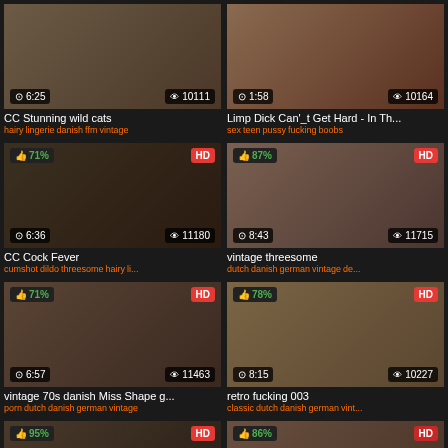[Figure (screenshot): Video thumbnail grid showing adult video website with 8 video cards in a 2-column layout]
CC Stunning wild cats
hairy lingerie danish ffm vintage
Limp Dick Can'_t Get Hard - In Th...
sex teen pussy fucking boobs
CC Cock Fever
cumshot dildo threesome hairy li...
vintage threesome
dutch danish german vintage de...
vintage 70s danish Miss Shape g...
porn dutch danish german vintage
retro fucking 003
classic dutch danish german vint...